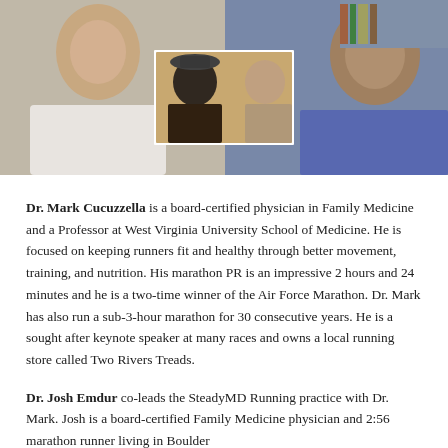[Figure (photo): Video call screenshot showing three people: a man on the left in a white shirt, a small inset video of a man and woman (couple), and a man on the right in a blue/purple shirt]
Dr. Mark Cucuzzella is a board-certified physician in Family Medicine and a Professor at West Virginia University School of Medicine. He is focused on keeping runners fit and healthy through better movement, training, and nutrition. His marathon PR is an impressive 2 hours and 24 minutes and he is a two-time winner of the Air Force Marathon. Dr. Mark has also run a sub-3-hour marathon for 30 consecutive years. He is a sought after keynote speaker at many races and owns a local running store called Two Rivers Treads.
Dr. Josh Emdur co-leads the SteadyMD Running practice with Dr. Mark. Josh is a board-certified Family Medicine physician and 2:56 marathon runner living in Boulder...